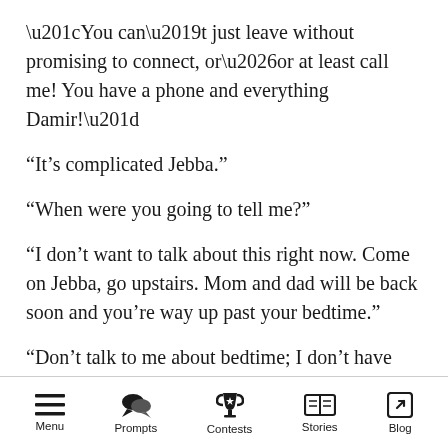“You can’t just leave without promising to connect, or…or at least call me! You have a phone and everything Damir!”
“It’s complicated Jebba.”
“When were you going to tell me?”
“I don’t want to talk about this right now. Come on Jebba, go upstairs. Mom and dad will be back soon and you’re way up past your bedtime.”
“Don’t talk to me about bedtime; I don’t have one-and when are you planning on telling them?”
Menu  Prompts  Contests  Stories  Blog